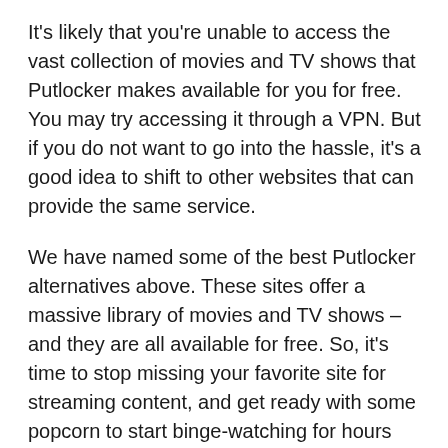It's likely that you're unable to access the vast collection of movies and TV shows that Putlocker makes available for you for free. You may try accessing it through a VPN. But if you do not want to go into the hassle, it's a good idea to shift to other websites that can provide the same service.
We have named some of the best Putlocker alternatives above. These sites offer a massive library of movies and TV shows – and they are all available for free. So, it's time to stop missing your favorite site for streaming content, and get ready with some popcorn to start binge-watching for hours again!